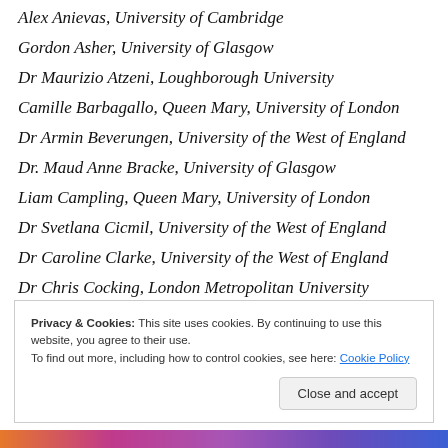Alex Anievas, University of Cambridge
Gordon Asher, University of Glasgow
Dr Maurizio Atzeni, Loughborough University
Camille Barbagallo, Queen Mary, University of London
Dr Armin Beverungen, University of the West of England
Dr. Maud Anne Bracke, University of Glasgow
Liam Campling, Queen Mary, University of London
Dr Svetlana Cicmil, University of the West of England
Dr Caroline Clarke, University of the West of England
Dr Chris Cocking, London Metropolitan University
Katherine Corbett, Middlesex University
Privacy & Cookies: This site uses cookies. By continuing to use this website, you agree to their use. To find out more, including how to control cookies, see here: Cookie Policy
Close and accept